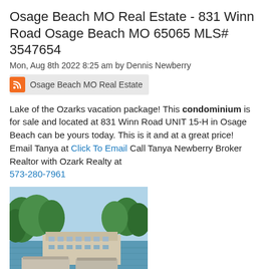Osage Beach MO Real Estate - 831 Winn Road Osage Beach MO 65065 MLS# 3547654
Mon, Aug 8th 2022 8:25 am by Dennis Newberry
Osage Beach MO Real Estate
Lake of the Ozarks vacation package! This condominium is for sale and located at 831 Winn Road UNIT 15-H in Osage Beach can be yours today. This is it and at a great price!  Email Tanya at Click To Email Call Tanya Newberry Broker Realtor with Ozark Realty at 573-280-7961
[Figure (photo): Aerial photo of a lakeside condominium complex with marina and boat docks, surrounded by green trees, at Lake of the Ozarks]
573-348-2781; call to view this home!